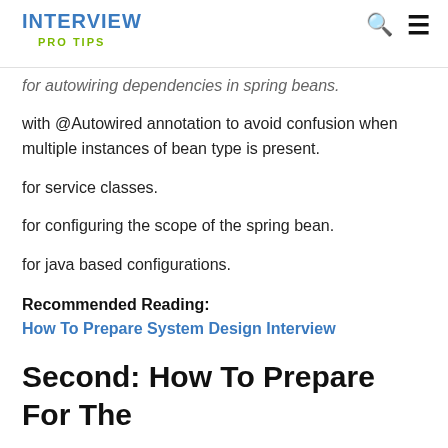INTERVIEW PRO TIPS
for autowiring dependencies in spring beans.
with @Autowired annotation to avoid confusion when multiple instances of bean type is present.
for service classes.
for configuring the scope of the spring bean.
for java based configurations.
Recommended Reading:
How To Prepare System Design Interview
Second: How To Prepare For The